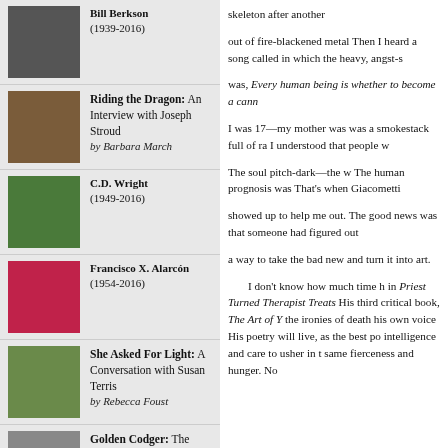Bill Berkson (1939-2016)
Riding the Dragon: An Interview with Joseph Stroud by Barbara March
C.D. Wright (1949-2016)
Francisco X. Alarcón (1954-2016)
She Asked For Light: A Conversation with Susan Terris by Rebecca Foust
Golden Codger: The Odd Career of Richard O. Moore by Stephen Kessler
Shooting the Canon An Interview with Marilyn Chin
skeleton after another

out of fire-blackened metal Then I heard a song called in which the heavy, angst-s

was, Every human being is whether to become a cann

I was 17—my mother was was a smokestack full of ra I understood that people w

The soul pitch-dark—the w The human prognosis was That's when Giacometti

showed up to help me out. The good news was that someone had figured out

a way to take the bad new and turn it into art.

I don't know how much time h in Priest Turned Therapist Treats His third critical book, The Art of Y the ironies of death his own voice His poetry will live, as the best po intelligence and care to usher in t same fierceness and hunger. No